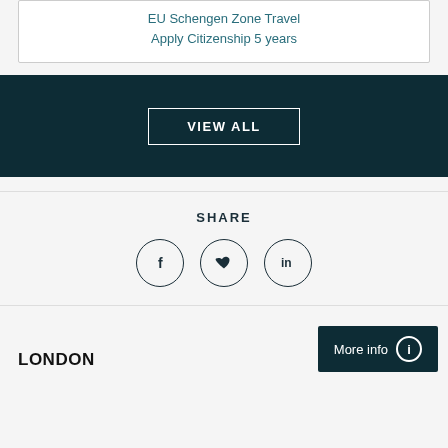EU Schengen Zone Travel
Apply Citizenship 5 years
VIEW ALL
SHARE
[Figure (infographic): Three social media share icons in circles: Facebook (f), Twitter (bird), LinkedIn (in)]
LONDON
More info